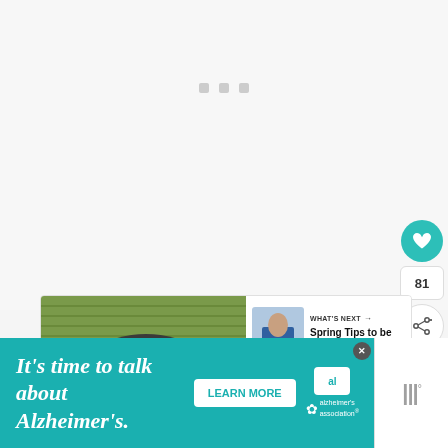[Figure (screenshot): Light gray background loading area with three small gray square dots centered]
[Figure (photo): Food bowl with grains, zucchini, and vegetables on green mat background — card image]
WHAT'S NEXT →
Spring Tips to be more Eco...
[Figure (infographic): Teal heart button with like count 81 and share icon button on sidebar]
[Figure (screenshot): Alzheimer's Association advertisement: It's time to talk about Alzheimer's. LEARN MORE button with al logo and alzheimer's association logo]
[Figure (logo): Gray MMM logo with degree symbol in bottom right panel]